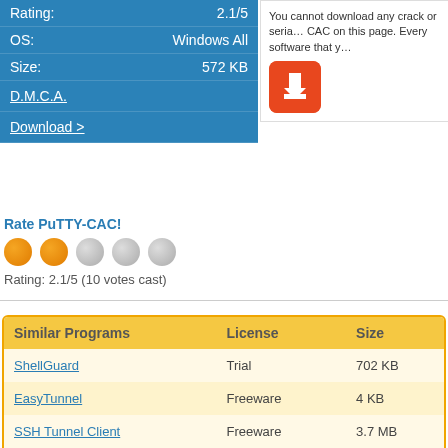| Rating: | 2.1/5 |
| OS: | Windows All |
| Size: | 572 KB |
D.M.C.A.
Download >
You cannot download any crack or serial CAC on this page. Every software that y...
Rate PuTTY-CAC!
Rating: 2.1/5 (10 votes cast)
| Similar Programs | License | Size |
| --- | --- | --- |
| ShellGuard | Trial | 702 KB |
| EasyTunnel | Freeware | 4 KB |
| SSH Tunnel Client | Freeware | 3.7 MB |
| ClusterSHISH | Shareware | 2.5 MB |